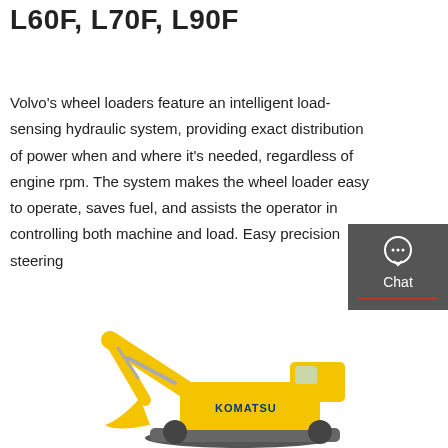VOLVO WHEEL LOADERS L60F, L70F, L90F
Volvo's wheel loaders feature an intelligent load-sensing hydraulic system, providing exact distribution of power when and where it's needed, regardless of engine rpm. The system makes the wheel loader easy to operate, saves fuel, and assists the operator in controlling both machine and load. Easy precision steering
[Figure (screenshot): Red 'Get a quote' call-to-action button]
[Figure (infographic): Dark grey sidebar panel with Chat, Email, and Contact icons and labels]
[Figure (photo): Yellow Komatsu excavator/construction equipment photo on white background]